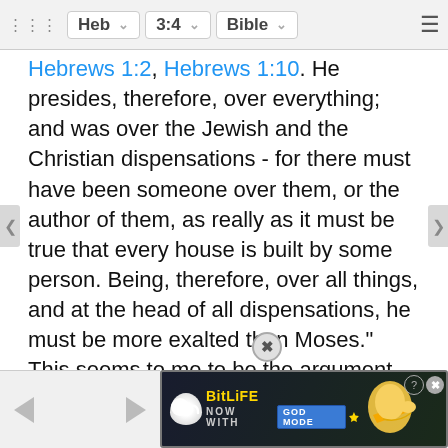⋮⋮⋮  Heb ∨  3:4 ∨  Bible ∨  ≡
Hebrews 1:2, Hebrews 1:10. He presides, therefore, over everything; and was over the Jewish and the Christian dispensations - for there must have been someone over them, or the author of them, as really as it must be true that every house is built by some person. Being, therefore, over all things, and at the head of all dispensations, he must be more exalted than Moses." This seems to me to be the argument - an argument which is based on the supposition that he is at the head of all things, and that he was the agent in the creation of all worlds. This view will make all consistent. The Lord Jesus will be seen to have a claim to a far higher honor than Moses, and Moses will be seen to have derived his honor, as a servant of the Mediator, in the economy whic he had a
[Figure (screenshot): BitLife advertisement banner: 'BitLife NOW WITH GOD MODE' with sperm emoji and pointing hand, on dark background]